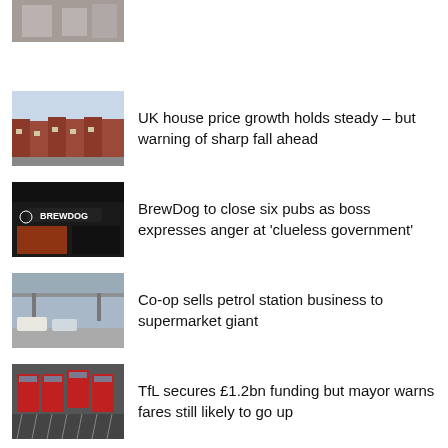[Figure (photo): Partially visible image at top of page - appears to be a building or interior scene]
[Figure (photo): Row of red brick terraced houses on a street]
UK house price growth holds steady – but warning of sharp fall ahead
[Figure (photo): BrewDog pub storefront with illuminated sign at night]
BrewDog to close six pubs as boss expresses anger at 'clueless government'
[Figure (photo): Co-op petrol station forecourt with cars]
Co-op sells petrol station business to supermarket giant
[Figure (photo): London Underground trains in a depot yard viewed from above]
TfL secures £1.2bn funding but mayor warns fares still likely to go up
[Figure (photo): Credit cards fanned out]
Borrowing on credit cards grows at fastest rate